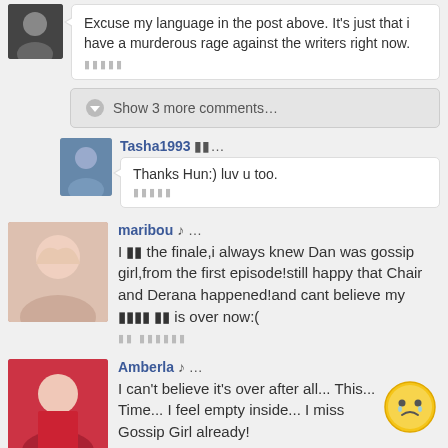Excuse my language in the post above. It's just that i have a murderous rage against the writers right now. ▕▕▕▕▕
Show 3 more comments…
Tasha1993 ▕▕…
Thanks Hun:) luv u too. ▕▕▕▕▕
maribou ▕ …
I ▕▕ the finale,i always knew Dan was gossip girl,from the first episode!still happy that Chair and Derana happened!and cant believe my ▕▕▕▕ ▕▕ is over now:( ▕▕ ▕▕▕▕▕
Amberla ▕ …
I can't believe it's over after all... This... Time... I feel empty inside... I miss Gossip Girl already!